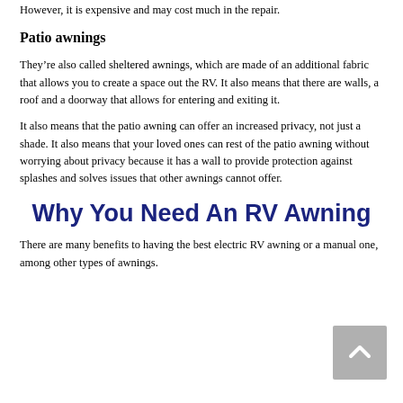However, it is expensive and may cost much in the repair.
Patio awnings
They’re also called sheltered awnings, which are made of an additional fabric that allows you to create a space out the RV. It also means that there are walls, a roof and a doorway that allows for entering and exiting it.
It also means that the patio awning can offer an increased privacy, not just a shade. It also means that your loved ones can rest of the patio awning without worrying about privacy because it has a wall to provide protection against splashes and solves issues that other awnings cannot offer.
Why You Need An RV Awning
There are many benefits to having the best electric RV awning or a manual one, among other types of awnings.